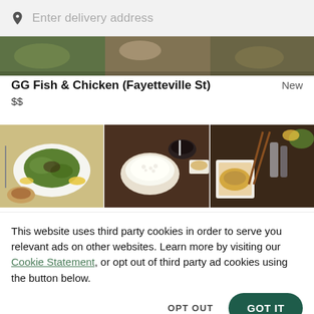Enter delivery address
[Figure (photo): Top strip of food images partially visible]
GG Fish & Chicken (Fayetteville St)
New
$$
[Figure (photo): Three-panel food photo strip showing stir-fry dishes, rice bowl, and takeout containers]
This website uses third party cookies in order to serve you relevant ads on other websites. Learn more by visiting our Cookie Statement, or opt out of third party ad cookies using the button below.
OPT OUT
GOT IT